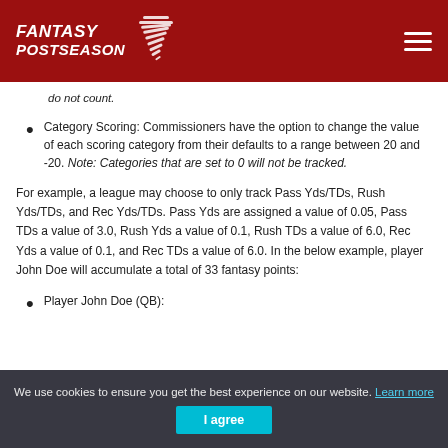Fantasy Postseason
do not count.
Category Scoring: Commissioners have the option to change the value of each scoring category from their defaults to a range between 20 and -20. Note: Categories that are set to 0 will not be tracked.
For example, a league may choose to only track Pass Yds/TDs, Rush Yds/TDs, and Rec Yds/TDs. Pass Yds are assigned a value of 0.05, Pass TDs a value of 3.0, Rush Yds a value of 0.1, Rush TDs a value of 6.0, Rec Yds a value of 0.1, and Rec TDs a value of 6.0. In the below example, player John Doe will accumulate a total of 33 fantasy points:
Player John Doe (QB):
We use cookies to ensure you get the best experience on our website. Learn more   I agree